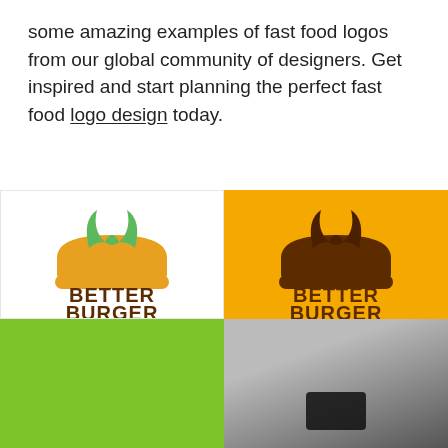some amazing examples of fast food logos from our global community of designers. Get inspired and start planning the perfect fast food logo design today.
[Figure (logo): Better Burger logo shown in two colorways: white background with colored logo (green leaves, amber burger shape, brown text), and amber/yellow background with monochrome brown logo. Below: green background panel and a photo panel (partial, cut off).]